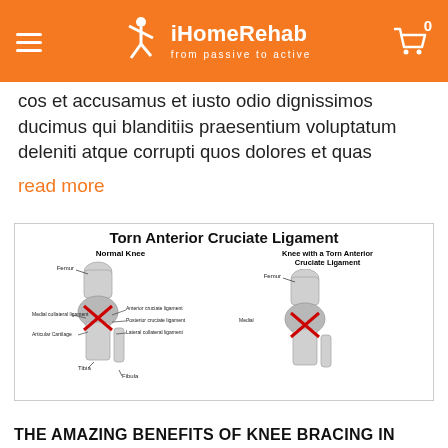iHomeRehab — from passive to active
cos et accusamus et iusto odio dignissimos ducimus qui blanditiis praesentium voluptatum deleniti atque corrupti quos dolores et quas
read more
[Figure (illustration): Medical diagram titled 'Torn Anterior Cruciate Ligament' showing two knee illustrations side by side: Normal Knee (left) with labeled parts including Femur, Medial collateral ligament, Anterior cruciate ligament, Posterior cruciate ligament, Articular Cartilage, Lateral collateral ligament, Tibia, Fibula. Knee with a Torn Anterior Cruciate Ligament (right) showing the same parts with a red X mark on the torn ACL.]
THE AMAZING BENEFITS OF KNEE BRACING IN